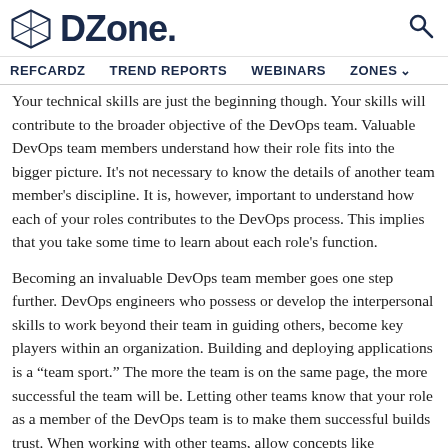DZone. [logo] [search icon]
REFCARDZ  TREND REPORTS  WEBINARS  ZONES
Your technical skills are just the beginning though. Your skills will contribute to the broader objective of the DevOps team. Valuable DevOps team members understand how their role fits into the bigger picture. It's not necessary to know the details of another team member's discipline. It is, however, important to understand how each of your roles contributes to the DevOps process. This implies that you take some time to learn about each role's function.
Becoming an invaluable DevOps team member goes one step further. DevOps engineers who possess or develop the interpersonal skills to work beyond their team in guiding others, become key players within an organization. Building and deploying applications is a “team sport.” The more the team is on the same page, the more successful the team will be. Letting other teams know that your role as a member of the DevOps team is to make them successful builds trust. When working with other teams, allow concepts like perspective and compromise to become a part of who you are. This may sound easy. It is not. Personalities and dogma get involved. These are difficult to navigate, which is why the DevOps